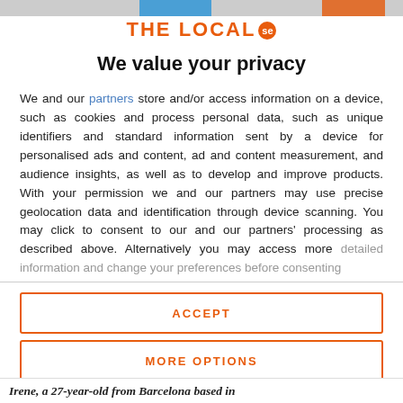[Figure (logo): THE LOCAL se logo with orange text and orange circle badge with 'se']
We value your privacy
We and our partners store and/or access information on a device, such as cookies and process personal data, such as unique identifiers and standard information sent by a device for personalised ads and content, ad and content measurement, and audience insights, as well as to develop and improve products. With your permission we and our partners may use precise geolocation data and identification through device scanning. You may click to consent to our and our partners' processing as described above. Alternatively you may access more detailed information and change your preferences before consenting
ACCEPT
MORE OPTIONS
Irene, a 27-year-old from Barcelona based in